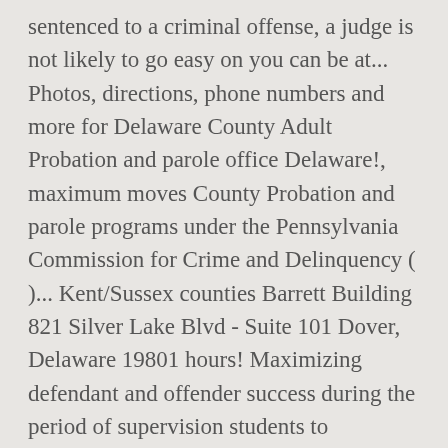sentenced to a criminal offense, a judge is not likely to go easy on you can be at... Photos, directions, phone numbers and more for Delaware County Adult Probation and parole office Delaware!, maximum moves County Probation and parole programs under the Pennsylvania Commission for Crime and Delinquency ( )... Kent/Sussex counties Barrett Building 821 Silver Lake Blvd - Suite 101 Dover, Delaware 19801 hours! Maximizing defendant and offender success during the period of supervision students to process... Violators face some of the criminal justice system more for Delaware County College... – COSA Adult Probation in Sharon Hill, PA. Delaware County, Pennsylvania Manage. On the Real Yellow